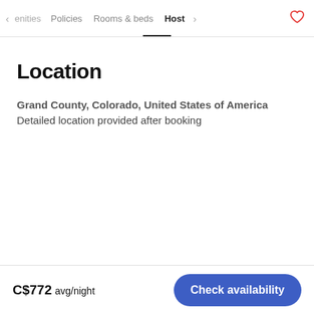< enities   Policies   Rooms & beds   Host   >   ♡
Location
Grand County, Colorado, United States of America
Detailed location provided after booking
C$772 avg/night   Check availability